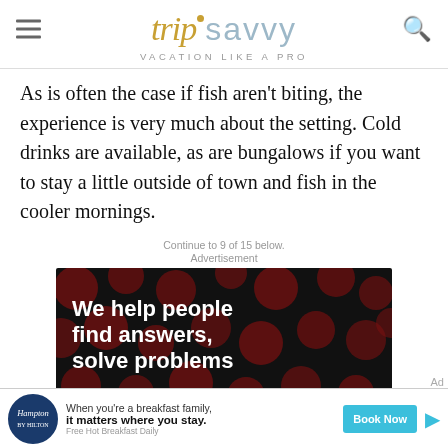tripsavvy VACATION LIKE A PRO
As is often the case if fish aren't biting, the experience is very much about the setting. Cold drinks are available, as are bungalows if you want to stay a little outside of town and fish in the cooler mornings.
Continue to 9 of 15 below.
Advertisement
[Figure (photo): Advertisement banner with dark background and polka dots showing text: We help people find answers, solve problems]
[Figure (photo): Hampton by Hilton advertisement bar at bottom: When you're a breakfast family, it matters where you stay. Free Hot Breakfast Daily. Book Now button.]